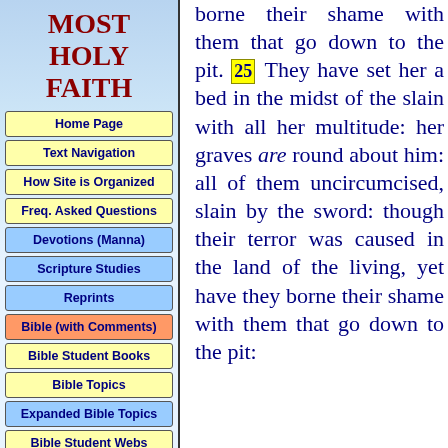MOST HOLY FAITH
Home Page
Text Navigation
How Site is Organized
Freq. Asked Questions
Devotions (Manna)
Scripture Studies
Reprints
Bible (with Comments)
Bible Student Books
Bible Topics
Expanded Bible Topics
Bible Student Webs
Miscellaneous
borne their shame with them that go down to the pit. 25 They have set her a bed in the midst of the slain with all her multitude: her graves are round about him: all of them uncircumcised, slain by the sword: though their terror was caused in the land of the living, yet have they borne their shame with them that go down to the pit: